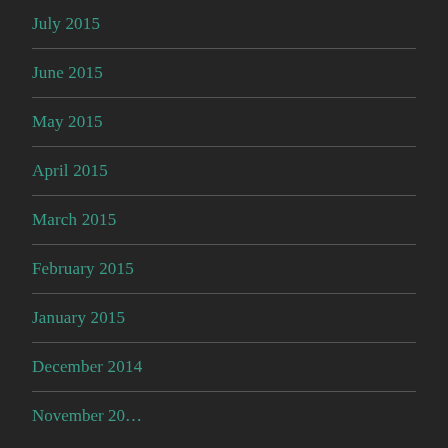July 2015
June 2015
May 2015
April 2015
March 2015
February 2015
January 2015
December 2014
November 20…